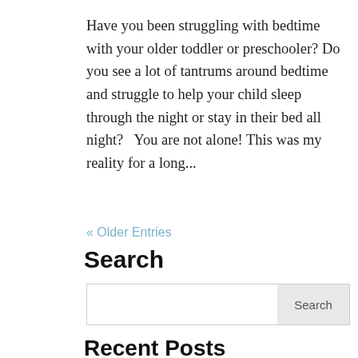Have you been struggling with bedtime with your older toddler or preschooler? Do you see a lot of tantrums around bedtime and struggle to help your child sleep through the night or stay in their bed all night?   You are not alone! This was my reality for a long...
« Older Entries
Search
Recent Posts
4 Reasons Why Family Meals Are Important + How to Start A Family Meal Tradition April